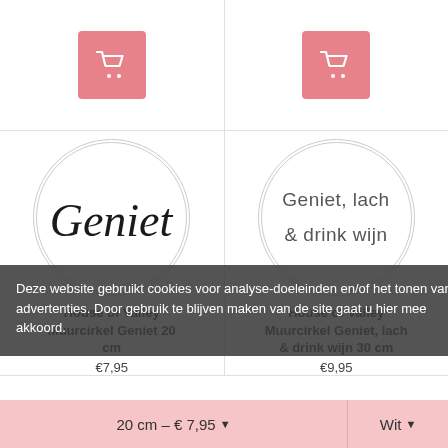[Figure (other): Two pink add-to-cart buttons at top of product grid]
[Figure (illustration): Round white circle sticker with cursive script text 'Geniet']
[Figure (illustration): Round white circle sticker with sans-serif text 'Geniet, lach & drink wijn']
House of Valley Muurcirkel Geniet 20 cm
€7,95
House of Valley Muurcirkel Geniet, lach & drink wijn 30 cm
€9,95
Deze website gebruikt cookies voor analyse-doeleinden en/of het tonen van advertenties. Door gebruik te blijven maken van de site gaat u hier mee akkoord.
20 cm – € 7,95 ▾
Wit ▾